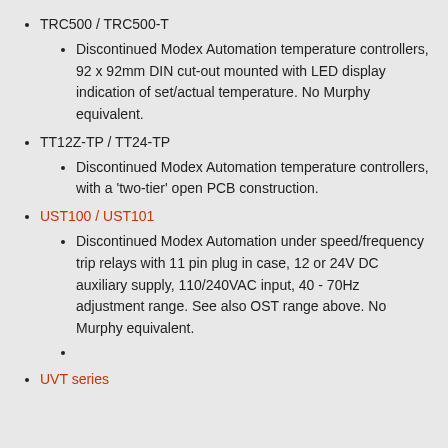TRC500 / TRC500-T
Discontinued Modex Automation temperature controllers, 92 x 92mm DIN cut-out mounted with LED display indication of set/actual temperature. No Murphy equivalent.
TT12Z-TP / TT24-TP
Discontinued Modex Automation temperature controllers, with a 'two-tier' open PCB construction.
UST100 / UST101
Discontinued Modex Automation under speed/frequency trip relays with 11 pin plug in case, 12 or 24V DC auxiliary supply, 110/240VAC input, 40 - 70Hz adjustment range. See also OST range above. No Murphy equivalent.
UVT series